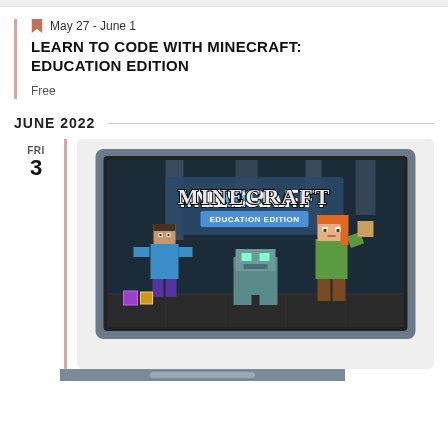May 27 - June 1
LEARN TO CODE WITH MINECRAFT: EDUCATION EDITION
Free
JUNE 2022
FRI
3
[Figure (illustration): Laptop displaying Minecraft: Education Edition logo with Minecraft characters Steve and Alex, and a robot on a desk scene]